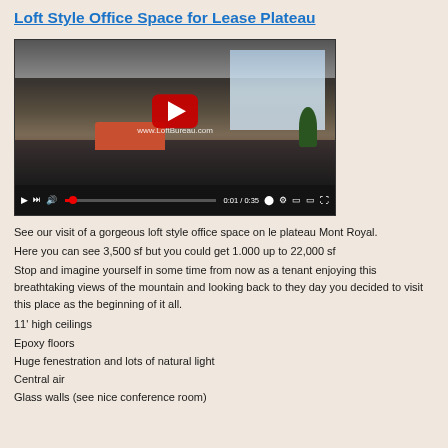Loft Style Office Space for Lease Plateau
[Figure (screenshot): YouTube video player showing a loft style office space interior with industrial ceiling, pendant lights, orange sofa, windows with mountain view, and a red play button overlay. Controls bar at bottom shows 0:01 / 0:35. Watermark: www.LoftBureau.com]
See our visit of a gorgeous loft style office space on le plateau Mont Royal.
Here you can see 3,500 sf but you could get 1.000 up to 22,000 sf
Stop and imagine yourself in some time from now as a tenant enjoying this breathtaking views of the mountain and looking back to they day you decided to visit this place as the beginning of it all.
11' high ceilings
Epoxy floors
Huge fenestration and lots of natural light
Central air
Glass walls (see nice conference room)